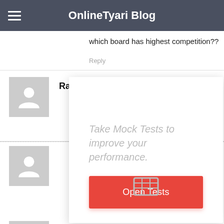OnlineTyari Blog
which board has highest competition??
Reply
Ravi
[Figure (infographic): Modal popup with text 'Take Mock Tests to improve your performance.' and a red 'Open Tests' button, overlaid on a blog comment section]
Hrudananda